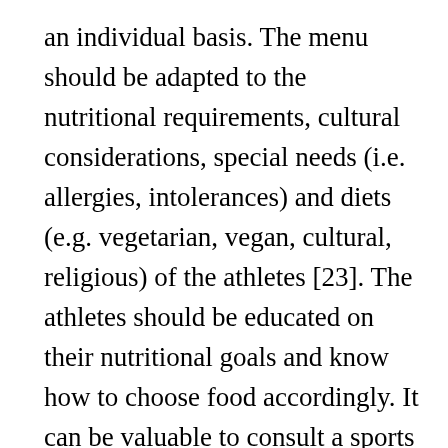an individual basis. The menu should be adapted to the nutritional requirements, cultural considerations, special needs (i.e. allergies, intolerances) and diets (e.g. vegetarian, vegan, cultural, religious) of the athletes [23]. The athletes should be educated on their nutritional goals and know how to choose food accordingly. It can be valuable to consult a sports dietitian for specific advice or to develop a nutritional strategy (Table 4, Figure 2) for the whole team travelling [23]. Due to altered conditions (e.g. time zone, environmental conditions) and dietary habits, there is an enhanced risk for traveler's diarrhea or upper respiratory tract infections [23,24]. The intake of probiotics two